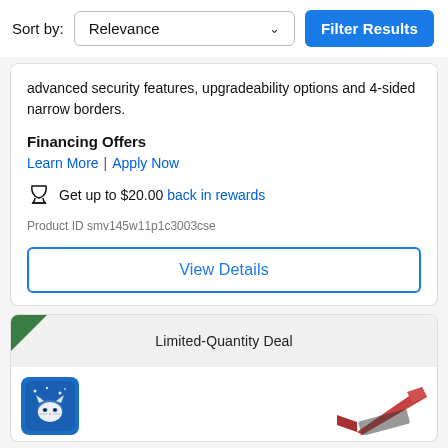Sort by:
Relevance
Filter Results
advanced security features, upgradeability options and 4-sided narrow borders.
Financing Offers
Learn More | Apply Now
Get up to $20.00 back in rewards
Product ID smv145w11p1c3003cse
View Details
Limited-Quantity Deal
[Figure (logo): Blue square store logo with a stylized cat/night sky icon]
[Figure (photo): Partially visible laptop computer angled view]